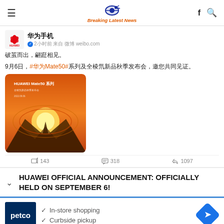Breaking Latest News
[Figure (screenshot): Weibo post from Huawei Mobile (华为手机) with verified badge, posted 2 hours ago via weibo.com. Text in Chinese announcing Huawei Mate50 series autumn launch event on September 6. Contains product teaser image with orange/sunset background.]
华为手机
2小时前 来自 微博 weibo.com
破茧而出，翩跹相见。
9月6日，#华为Mate50#系列及全棱氘新品秋季发布会，邀您共同见证。
143   318   1097
HUAWEI OFFICIAL ANNOUNCEMENT: OFFICIALLY HELD ON SEPTEMBER 6!
[Figure (other): Advertisement for Petco with logo, checkmarks for In-store shopping and Curbside pickup, and a blue navigation diamond icon]